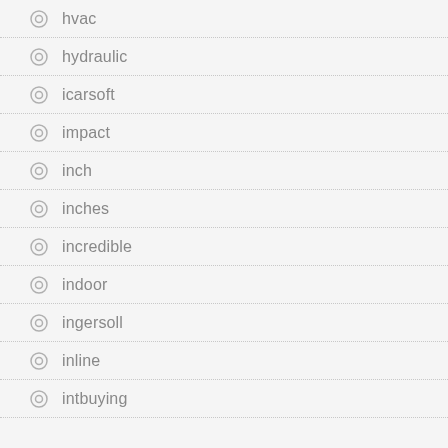hvac
hydraulic
icarsoft
impact
inch
inches
incredible
indoor
ingersoll
inline
intbuying